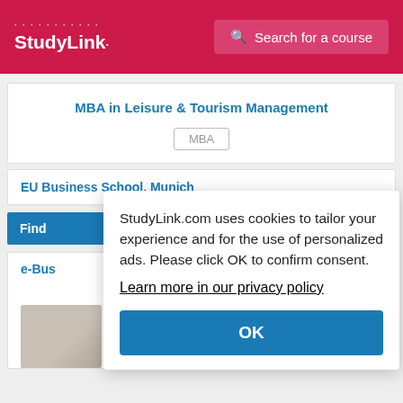StudyLink — Search for a course
MBA in Leisure & Tourism Management
MBA
EU Business School, Munich
Find
e-Bus
StudyLink.com uses cookies to tailor your experience and for the use of personalized ads. Please click OK to confirm consent. Learn more in our privacy policy
OK